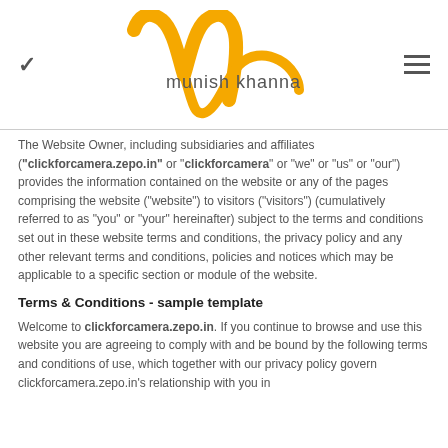munish khanna
The Website Owner, including subsidiaries and affiliates ("clickforcamera.zepo.in" or "clickforcamera" or "we" or "us" or "our") provides the information contained on the website or any of the pages comprising the website ("website") to visitors ("visitors") (cumulatively referred to as "you" or "your" hereinafter) subject to the terms and conditions set out in these website terms and conditions, the privacy policy and any other relevant terms and conditions, policies and notices which may be applicable to a specific section or module of the website.
Terms & Conditions - sample template
Welcome to clickforcamera.zepo.in. If you continue to browse and use this website you are agreeing to comply with and be bound by the following terms and conditions of use, which together with our privacy policy govern clickforcamera.zepo.in's relationship with you in